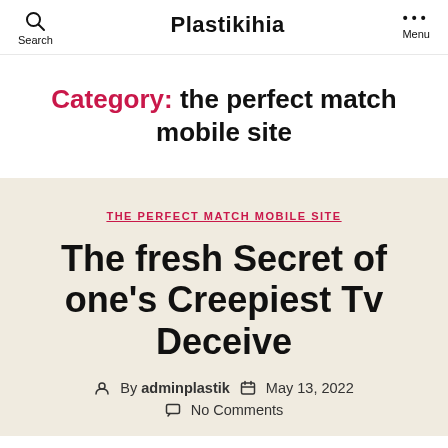Plastikihia
Category: the perfect match mobile site
THE PERFECT MATCH MOBILE SITE
The fresh Secret of one's Creepiest Tv Deceive
By adminplastik  May 13, 2022  No Comments